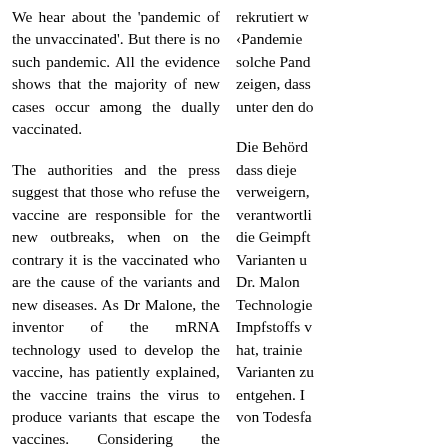We hear about the 'pandemic of the unvaccinated'. But there is no such pandemic. All the evidence shows that the majority of new cases occur among the dually vaccinated.
The authorities and the press suggest that those who refuse the vaccine are responsible for the new outbreaks, when on the contrary it is the vaccinated who are the cause of the variants and new diseases. As Dr Malone, the inventor of the mRNA technology used to develop the vaccine, has patiently explained, the vaccine trains the virus to produce variants that escape the vaccines. Considering the enormous number of deaths and injuries associated with the vaccine, we must conclude that the vaccine is giving the vaccinated covid diseases. Some have severe
rekrutiert w‹Pandemie solche Pand zeigen, dass unter den do
Die Behörd dass dieje verweigern, verantwortli die Geimpft Varianten u Dr. Malon Technologie Impfstoffs v hat, trainie Varianten zu entgehen. I von Todesfa